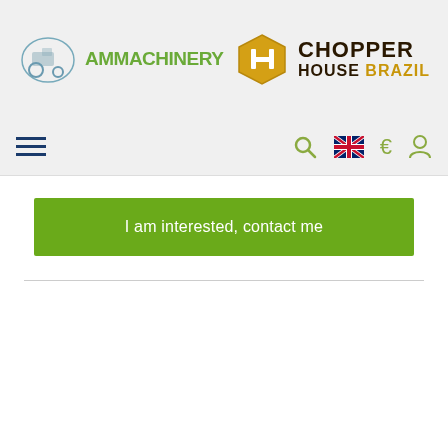[Figure (logo): AM Machinery logo with tractor icon and green text]
[Figure (logo): Chopper House Brazil logo with hexagon icon and dark/gold text]
[Figure (screenshot): Navigation bar with hamburger menu, search icon, UK flag, euro sign, and user icon]
I am interested, contact me